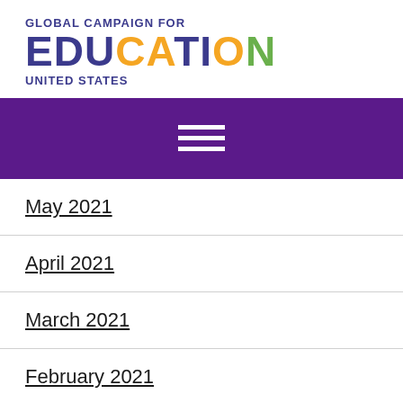[Figure (logo): Global Campaign for Education United States logo with colorful lettering]
[Figure (other): Purple navigation bar with hamburger menu icon (three horizontal white lines)]
May 2021
April 2021
March 2021
February 2021
January 2021